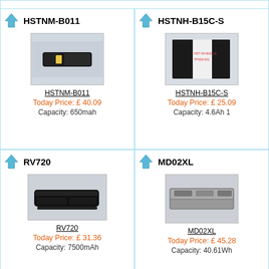[Figure (photo): Product card for HSTNM-B011 laptop battery. Shows battery image, price £40.09, capacity 650mah.]
[Figure (photo): Product card for HSTNH-B15C-S laptop battery. Shows battery image, price £25.09, capacity 4.6Ah 1.]
[Figure (photo): Product card for RV720 laptop battery. Shows battery image, price £31.36, capacity 7500mAh.]
[Figure (photo): Product card for MD02XL laptop battery. Shows battery image, price £45.28, capacity 40.61Wh.]
ME84XL
PL03XL